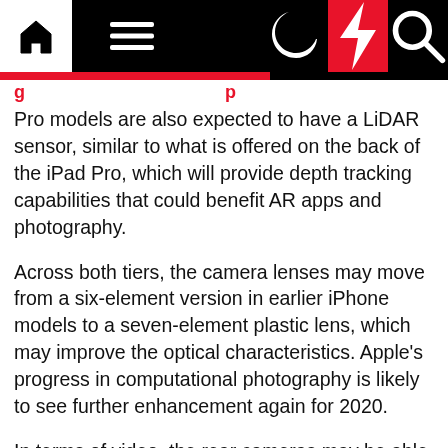Navigation bar with home, menu, moon, flash, and search icons
Pro models are also expected to have a LiDAR sensor, similar to what is offered on the back of the iPad Pro, which will provide depth tracking capabilities that could benefit AR apps and photography.
Across both tiers, the camera lenses may move from a six-element version in earlier iPhone models to a seven-element plastic lens, which may improve the optical characteristics. Apple's progress in computational photography is likely to see further enhancement again for 2020.
In terms of video, the rear cameras may be able to record slo-mo video at a 4K resolution for the first time, in both 120fps and 240fps frame rates. An "Enhanced Night Mode" and "Advanced Noise